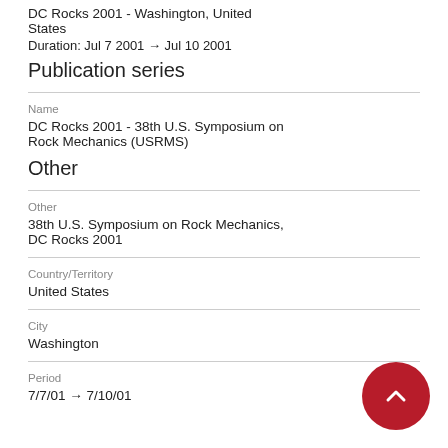DC Rocks 2001 - Washington, United States
Duration: Jul 7 2001 → Jul 10 2001
Publication series
Name
DC Rocks 2001 - 38th U.S. Symposium on Rock Mechanics (USRMS)
Other
Other
38th U.S. Symposium on Rock Mechanics, DC Rocks 2001
Country/Territory
United States
City
Washington
Period
7/7/01 → 7/10/01